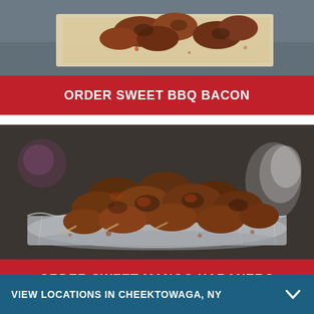[Figure (photo): Top portion of food photo showing chicken wings or BBQ bacon on parchment paper, partially cropped]
ORDER SWEET BBQ BACON
[Figure (photo): Spiced chicken wings piled on aluminum foil on a dark surface — Sweet Mango Habanero flavor]
ORDER SWEET MANGO HABANERO
VIEW LOCATIONS IN CHEEKTOWAGA, NY